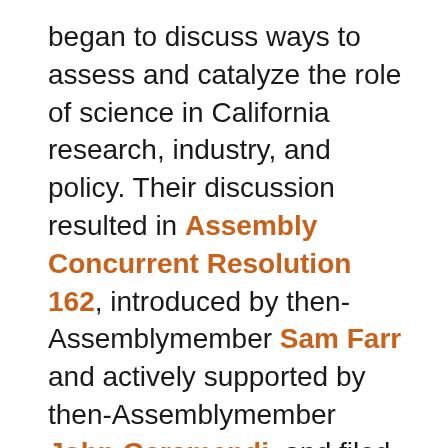began to discuss ways to assess and catalyze the role of science in California research, industry, and policy. Their discussion resulted in Assembly Concurrent Resolution 162, introduced by then-Assemblymember Sam Farr and actively supported by then-Assemblymember John Garamendi, and filed with the Secretary of State on September 15, 1988.
ACR 162 called for the establishment of “the California Council on Science and